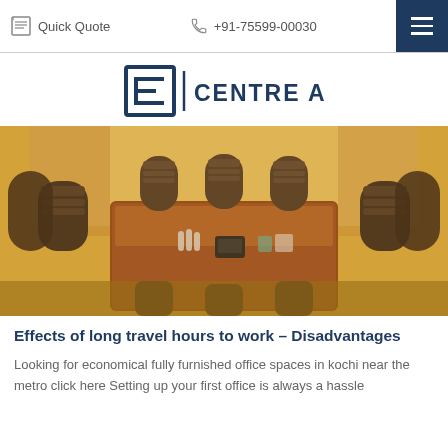Quick Quote  +91-75599-00030
[Figure (logo): Centre A logo — a square bracket icon with the letter E inside, followed by a vertical bar and the text CENTRE A in dark navy]
[Figure (photo): A conference room with a large wooden rectangular table surrounded by dark leather high-back office chairs, with a phone and items on the table, warm yellow lighting]
Effects of long travel hours to work – Disadvantages
Looking for economical fully furnished office spaces in kochi near the metro click here Setting up your first office is always a hassle